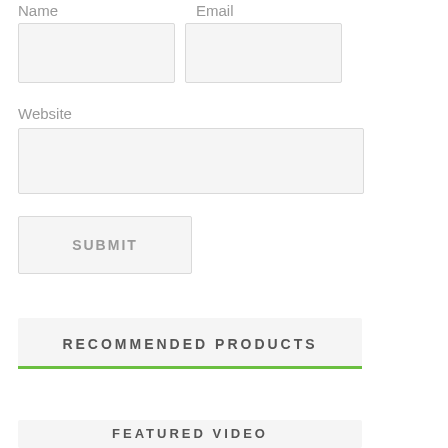Name
Email
Website
SUBMIT
RECOMMENDED PRODUCTS
FEATURED VIDEO